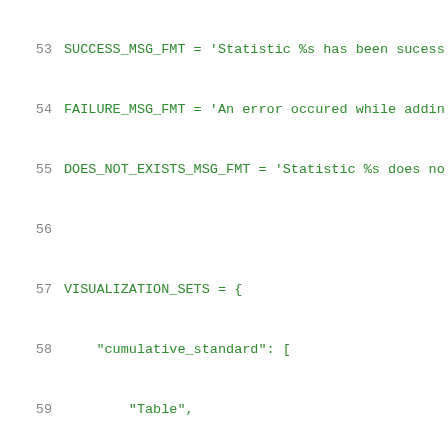53  SUCCESS_MSG_FMT = 'Statistic %s has been sucess...
54  FAILURE_MSG_FMT = 'An error occured while addin...
55  DOES_NOT_EXISTS_MSG_FMT = 'Statistic %s does no...
56
57  VISUALIZATION_SETS = {
58      "cumulative_standard": [
59          "Table",
60          "BarChart",
61          "ColumnChart",
62          "ImageChartBar",
63          ],
64      "cumulative_countries": [
65          "Table"
66          ],
67      "single_standard": [
68          "Table",
69          "BarChart",
70          "ColumnChart",
71          "ImageChartBar",
72          "ImageChartP",
73          "ImageChartP3",
74          ...